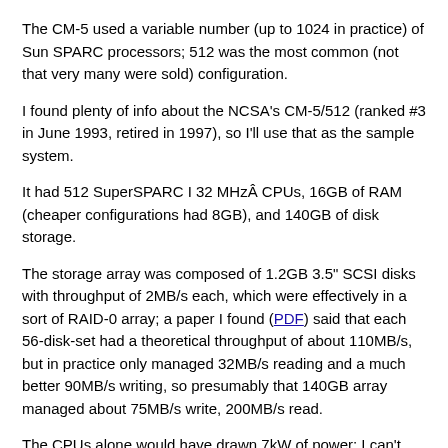The CM-5 used a variable number (up to 1024 in practice) of Sun SPARC processors; 512 was the most common (not that very many were sold) configuration.
I found plenty of info about the NCSA's CM-5/512 (ranked #3 in June 1993, retired in 1997), so I'll use that as the sample system.
It had 512 SuperSPARC I 32 MHzÂ CPUs, 16GB of RAM (cheaper configurations had 8GB), and 140GB of disk storage.
The storage array was composed of 1.2GB 3.5" SCSI disks with throughput of 2MB/s each, which were effectively in a sort of RAID-0 array; a paper I found (PDF) said that each 56-disk-set had a theoretical throughput of about 110MB/s, but in practice only managed 32MB/s reading and a much better 90MB/s writing, so presumably that 140GB array managed about 75MB/s write, 200MB/s read.
The CPUs alone would have drawn 7kW of power; I can't find a number anywhere for the whole system, but probably at least 20kW, if not much, much higher; pricing was a weird, scandalous subsidy thing with DARPA, but somewhere over a million bucks. The individual cabinets were about 8 feet (2.5m) tall (this page has some photos with people for scale), and took up more or less a whole room; I couldn't find any weight figures, but presumably several tons.
2011 MacBook Pro Specs